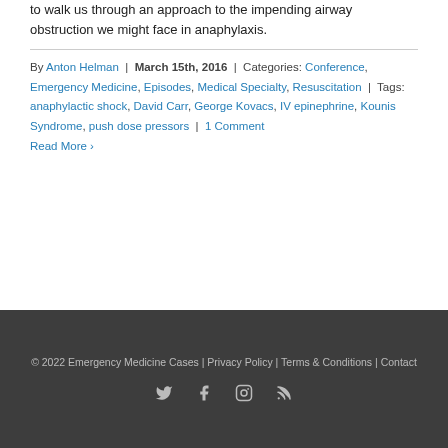to walk us through an approach to the impending airway obstruction we might face in anaphylaxis.
By Anton Helman | March 15th, 2016 | Categories: Conference, Emergency Medicine, Episodes, Medical Specialty, Resuscitation | Tags: anaphylactic shock, David Carr, George Kovacs, IV epinephrine, Kounis Syndrome, push dose pressors | 1 Comment
Read More ›
© 2022 Emergency Medicine Cases | Privacy Policy | Terms & Conditions | Contact